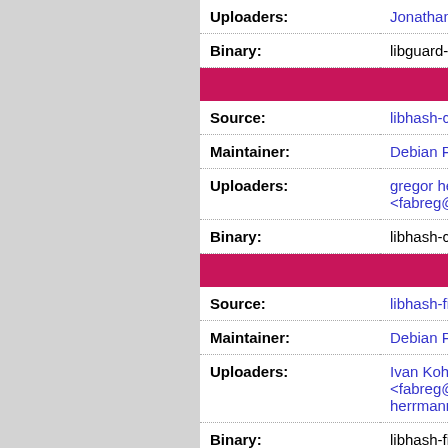| Uploaders: | Jonathan Yu <jaw... |
| Binary: | libguard-perl |
| libha... |
| Source: | libhash-case-perl |
| Maintainer: | Debian Perl Group |
| Uploaders: | gregor herrmann <...
<fabreg@fabreg.i... |
| Binary: | libhash-case-perl:all |
| libhash... |
| Source: | libhash-fieldhash-perl |
| Maintainer: | Debian Perl Group |
| Uploaders: | Ivan Kohler <ivan-...
<fabreg@fabreg.i...
herrmann <grego... |
| Binary: | libhash-fieldhash-perl |